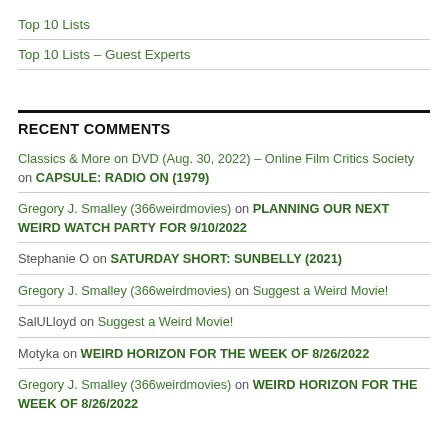Top 10 Lists
Top 10 Lists – Guest Experts
RECENT COMMENTS
Classics & More on DVD (Aug. 30, 2022) – Online Film Critics Society on CAPSULE: RADIO ON (1979)
Gregory J. Smalley (366weirdmovies) on PLANNING OUR NEXT WEIRD WATCH PARTY FOR 9/10/2022
Stephanie O on SATURDAY SHORT: SUNBELLY (2021)
Gregory J. Smalley (366weirdmovies) on Suggest a Weird Movie!
SalULloyd on Suggest a Weird Movie!
Motyka on WEIRD HORIZON FOR THE WEEK OF 8/26/2022
Gregory J. Smalley (366weirdmovies) on WEIRD HORIZON FOR THE WEEK OF 8/26/2022